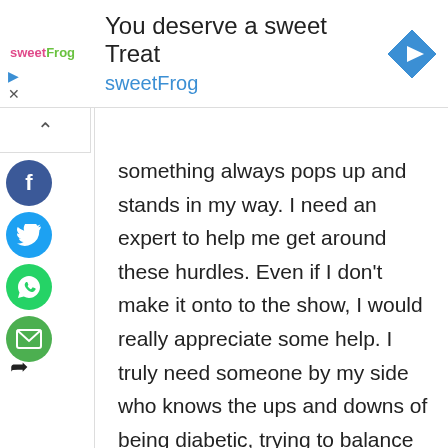[Figure (screenshot): SweetFrog advertisement banner with logo, title 'You deserve a sweet Treat', subtitle 'sweetFrog', and a blue navigation/directions diamond icon on the right.]
something always pops up and stands in my way. I need an expert to help me get around these hurdles. Even if I don't make it onto to the show, I would really appreciate some help. I truly need someone by my side who knows the ups and downs of being diabetic, trying to balance eating right, and exercise all while managing daily stress and pain. I need an advocate for me!